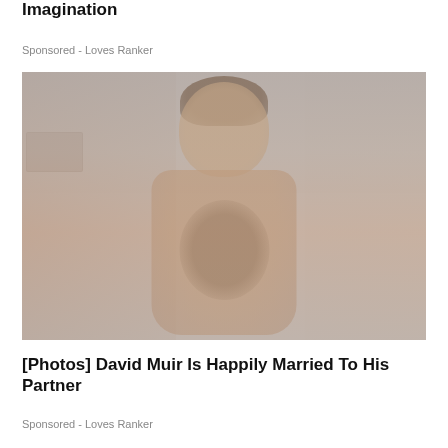Imagination
Sponsored - Loves Ranker
[Figure (photo): A shirtless man with brown wavy hair standing outdoors on a street, with buildings and trees in the background. The photo has a faded, muted color tone.]
[Photos] David Muir Is Happily Married To His Partner
Sponsored - Loves Ranker